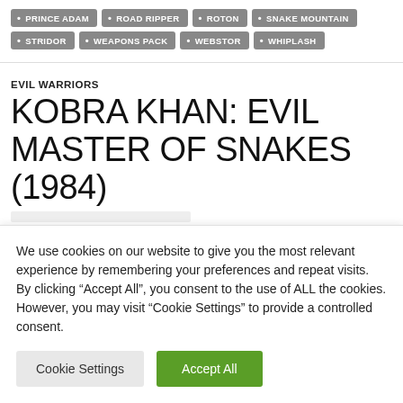PRINCE ADAM
ROAD RIPPER
ROTON
SNAKE MOUNTAIN
STRIDOR
WEAPONS PACK
WEBSTOR
WHIPLASH
EVIL WARRIORS
KOBRA KHAN: EVIL MASTER OF SNAKES (1984)
We use cookies on our website to give you the most relevant experience by remembering your preferences and repeat visits. By clicking “Accept All”, you consent to the use of ALL the cookies. However, you may visit "Cookie Settings" to provide a controlled consent.